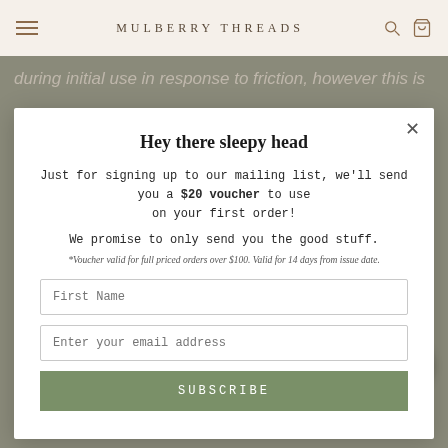MULBERRY THREADS
during initial use in response to friction, however this is
Hey there sleepy head
Just for signing up to our mailing list, we'll send you a $20 voucher to use on your first order!
We promise to only send you the good stuff.
*Voucher valid for full priced orders over $100. Valid for 14 days from issue date.
First Name
Enter your email address
SUBSCRIBE
You may also like